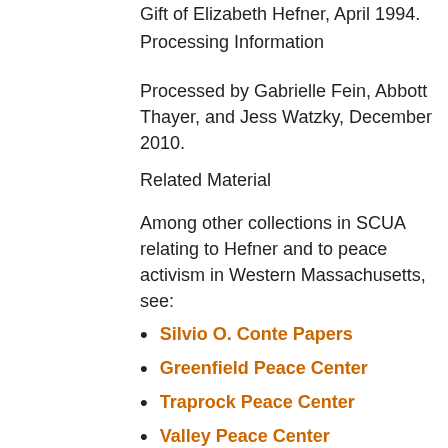Gift of Elizabeth Hefner, April 1994.
Processing Information
Processed by Gabrielle Fein, Abbott Thayer, and Jess Watzky, December 2010.
Related Material
Among other collections in SCUA relating to Hefner and to peace activism in Western Massachusetts, see:
Silvio O. Conte Papers
Greenfield Peace Center
Traprock Peace Center
Valley Peace Center
Copyright and Use
(More information
Connect to publication information )